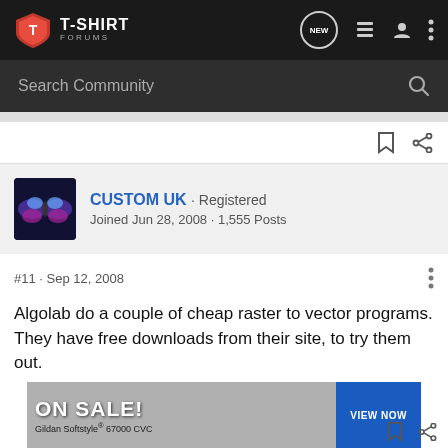T-SHIRT FORUMS
Search Community
CUSTOM UK · Registered
Joined Jun 28, 2008 · 1,555 Posts
#11 · Sep 12, 2008
Algolab do a couple of cheap raster to vector programs. They have free downloads from their site, to try them out.
[Figure (screenshot): Advertisement banner: ON SALE! Gildan Softstyle 67000 CVC with VIEW NOW button]